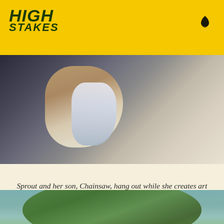HIGH STAKES
[Figure (photo): Close-up photo of a person holding a white bottle, with another person seated in the background on what appears to be a bed or couch. The scene suggests an informal, relaxed setting at an outdoor festival.]
Sprout and her son, Chainsaw, hang out while she creates art for people attending the festival to purchase.
[Figure (photo): Close-up portrait of a person wearing a hat decorated with cannabis/hemp leaves and foliage. The person is looking upward with a blue sky and greenery visible in the background.]